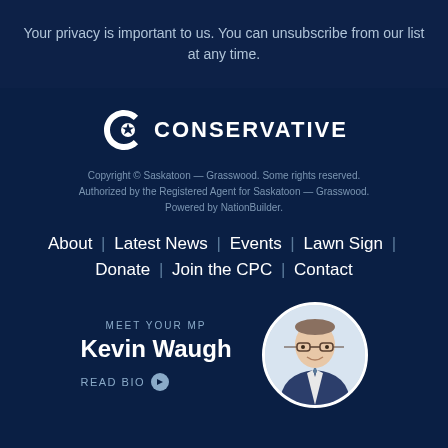Your privacy is important to us. You can unsubscribe from our list at any time.
[Figure (logo): Conservative Party of Canada logo — white stylized C with maple leaf, text CONSERVATIVE]
Copyright © Saskatoon — Grasswood. Some rights reserved. Authorized by the Registered Agent for Saskatoon — Grasswood. Powered by NationBuilder.
About | Latest News | Events | Lawn Sign | Donate | Join the CPC | Contact
MEET YOUR MP
Kevin Waugh
READ BIO
[Figure (photo): Circular portrait photo of Kevin Waugh, a man with glasses wearing a suit and tie, smiling]